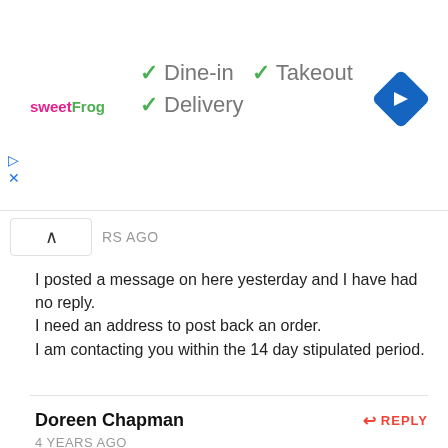[Figure (screenshot): Top banner ad with sweetFrog logo, dine-in/takeout/delivery checkmarks, and blue diamond navigation icon]
RS AGO
I posted a message on here yesterday and I have had no reply.
I need an address to post back an order.
I am contacting you within the 14 day stipulated period.
Doreen Chapman
4 YEARS AGO
Again no reply still waiting for moderation after reading some of the previous comments it seems like it is extremely difficult to contact anyone at your company and to get any service is there anyone working in customer care my order no is 02192355023 if I